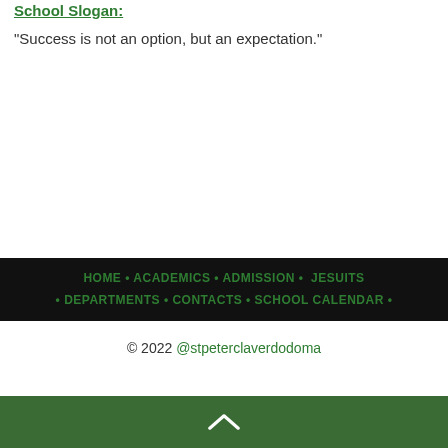School Slogan:
"Success is not an option, but an expectation."
HOME · ACADEMICS · ADMISSION · JESUITS · DEPARTMENTS · CONTACTS · SCHOOL CALENDAR ·
© 2022 @stpeterclaverdodoma
[Figure (other): Green footer bar with upward chevron/arrow icon]